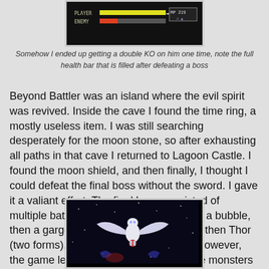[Figure (screenshot): Video game screenshot showing player and enemy health bars with MP 219 display on dark background]
Somehow I ended up getting a double KO on him one time, note the full health bar that is filled after defeating a boss
Beyond Battler was an island where the evil spirit was revived. Inside the cave I found the time ring, a mostly useless item. I was still searching desperately for the moon stone, so after exhausting all paths in that cave I returned to Lagoon Castle. I found the moon shield, and then finally, I thought I could defeat the final boss without the sword. I gave it a valiant effort. The final boss consisted of multiple battles. First a large head inside a bubble, then a gargoyle with a whip, then Zerah, then Thor (two forms), and finally a red gargoyle. However, the game let me fight through all of these monsters without trouble up until the red gargoyle, which only took damage from the moon sword.
[Figure (screenshot): Video game screenshot showing a white winged creature (gargoyle or angel) against a dark starry background]